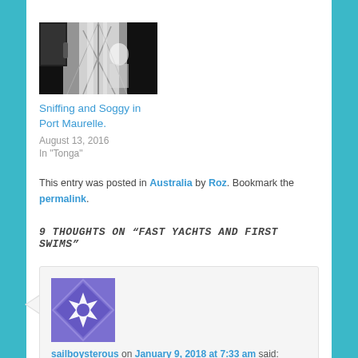[Figure (photo): Photo of yacht mast/rigging seen from below, black and white tones]
Sniffing and Soggy in Port Maurelle.
August 13, 2016
In "Tonga"
This entry was posted in Australia by Roz. Bookmark the permalink.
9 THOUGHTS ON “FAST YACHTS AND FIRST SWIMS”
[Figure (illustration): Purple geometric avatar/icon with star-like pattern]
sailboysterous on January 9, 2018 at 7:33 am said:
Sorry we missed you in Sydney – never really sure